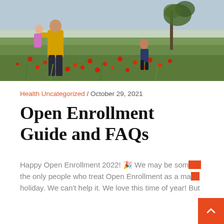[Figure (photo): A person in a yellow shirt carrying a small child in a field of red poppies, with another child running in the background near a tree. Blue sky above.]
Health Uncategorized / October 29, 2021
Open Enrollment Guide and FAQs
Happy Open Enrollment 2022! 🎉 We may be some of the only people who treat Open Enrollment as a major holiday. We can't help it. We love this time of year! But